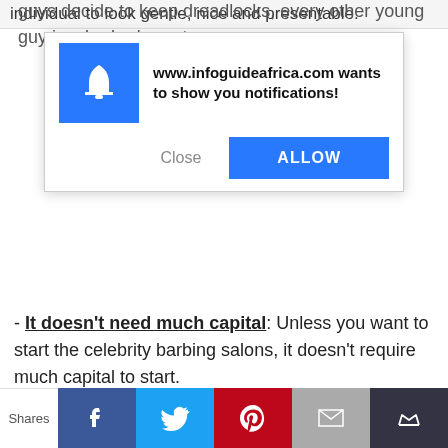individual to look gentle, nice and presentable.
[Figure (screenshot): Browser notification popup from www.infoguideafrica.com asking to show notifications, with Close and ALLOW buttons]
guys decide to keep dreadlocks, every other young guy is a barber's customer.
- It doesn't need much capital: Unless you want to start the celebrity barbing salons, it doesn't require much capital to start.
What You Need to Start A Barbing Salon Business
Shares [Facebook] [Twitter] [Pinterest] [Email] [Other]